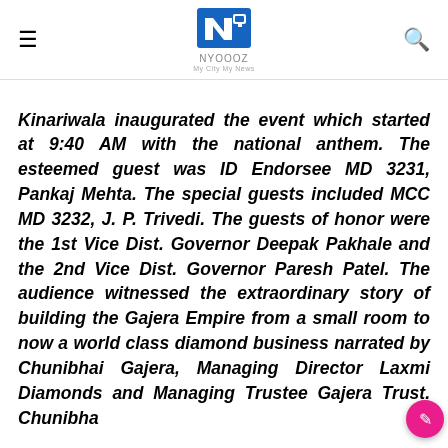NYOOOZ — My City My News (logo header with hamburger menu and search icon)
Kinariwala inaugurated the event which started at 9:40 AM with the national anthem. The esteemed guest was ID Endorsee MD 3231, Pankaj Mehta. The special guests included MCC MD 3232, J. P. Trivedi. The guests of honor were the 1st Vice Dist. Governor Deepak Pakhale and the 2nd Vice Dist. Governor Paresh Patel. The audience witnessed the extraordinary story of building the Gajera Empire from a small room to now a world class diamond business narrated by Chunibhai Gajera, Managing Director Laxmi Diamonds and Managing Trustee Gajera Trust. Chunibha